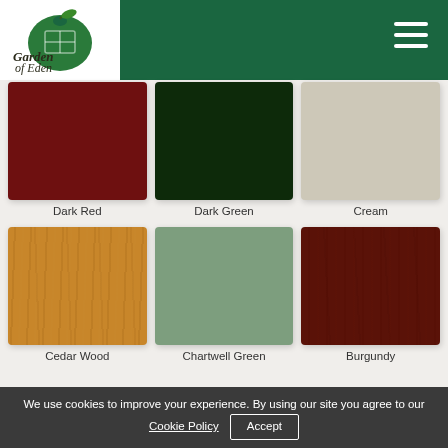Garden of Eden
[Figure (infographic): Color swatches grid showing 6 colors: Dark Red, Dark Green, Cream (top row), Cedar Wood, Chartwell Green, Burgundy (bottom row)]
Dark Red
Dark Green
Cream
Cedar Wood
Chartwell Green
Burgundy
We use cookies to improve your experience. By using our site you agree to our Cookie Policy  Accept